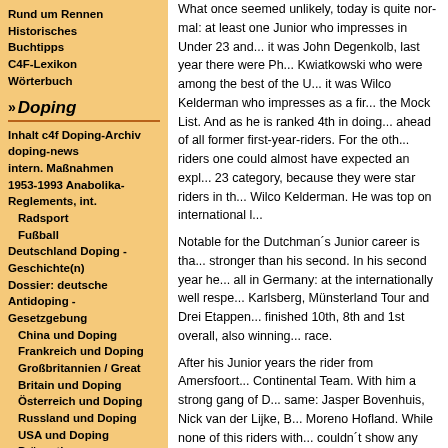Rund um Rennen
Historisches
Buchtipps
C4F-Lexikon
Wörterbuch
»Doping
Inhalt c4f Doping-Archiv
doping-news
intern. Maßnahmen
1953-1993 Anabolika-Reglements, int.
Radsport
Fußball
Deutschland Doping - Geschichte(n)
Dossier: deutsche Antidoping - Gesetzgebung
China und Doping
Frankreich und Doping
Großbritannien / Great Britain und Doping
Österreich und Doping
Russland und Doping
USA und Doping
Prävention
Antidoping
Dossiers
Mittel, Methoden
Dopingpraxis
What once seemed unlikely, today is quite normal: at least one Junior who impresses in Under 23 and... it was John Degenkolb, last year there were Ph... Kwiatkowski who were among the best of the U... it was Wilco Kelderman who impresses as a fir... the Mock List. And as he is ranked 4th in doing... ahead of all former first-year-riders. For the oth... riders one could almost have expected an expl... 23 category, because they were star riders in th... Wilco Kelderman. He was top on international l...
Notable for the Dutchman´s Junior career is tha... stronger than his second. In his second year he... all in Germany: at the internationally well respe... Karlsberg, Münsterland Tour and Drei Etappen... finished 10th, 8th and 1st overall, also winning... race.
After his Junior years the rider from Amersfoort... Continental Team. With him a strong gang of D... same: Jasper Bovenhuis, Nick van der Lijke, B... Moreno Hofland. While none of this riders with... couldn´t show any strong results, Kelderman s... the season.
In March he started at the Istrian Spring Trophy... the best riders of former Yugoslavia traditionally... and Ex-Czechoslovacians for a first contest. Al... man from Utrecht finished 2nd on the same tim... next tough stages that were decisive for the ov... Dutchman was 4th and 6th and finished 5th ow...